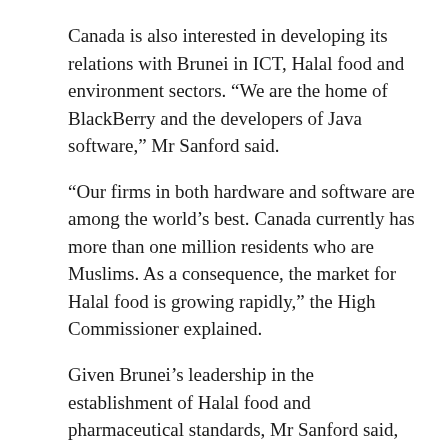Canada is also interested in developing its relations with Brunei in ICT, Halal food and environment sectors. “We are the home of BlackBerry and the developers of Java software,” Mr Sanford said.
“Our firms in both hardware and software are among the world’s best. Canada currently has more than one million residents who are Muslims. As a consequence, the market for Halal food is growing rapidly,” the High Commissioner explained.
Given Brunei’s leadership in the establishment of Halal food and pharmaceutical standards, Mr Sanford said, Canadian